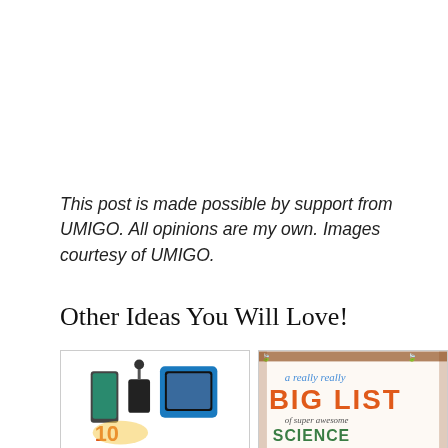This post is made possible by support from UMIGO. All opinions are my own. Images courtesy of UMIGO.
Other Ideas You Will Love!
[Figure (photo): Two thumbnail images side by side: left shows tech gadgets (phone, car charger, tablet with blue case, and text '10'), right shows a colorful graphic with text 'a really really BIG LIST of super awesome SCIENCE']